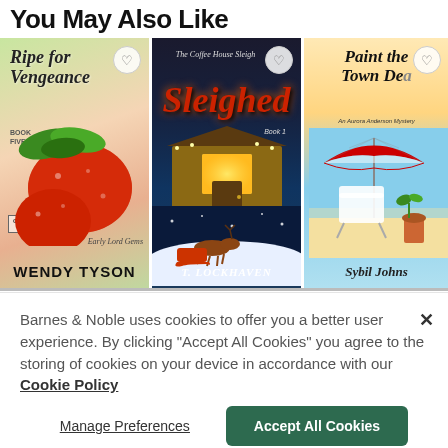You May Also Like
[Figure (illustration): Book cover: Ripe for Vengeance by Wendy Tyson. Greenhouse Mysteries, Book Five. Strawberries and leaves on a gradient background. Early Lord Gems text. Author name at bottom.]
[Figure (illustration): Book cover: The Coffee House Sleigh Sleighed by T. Lockhaven. Dark winter night scene with illuminated coffee house, reindeer and sleigh, Book 1.]
[Figure (illustration): Book cover: Paint the Town Dead by Sybil Johnson. An Aurora Anderson Mystery. Beach scene with red-and-white umbrella and white chair.]
Barnes & Noble uses cookies to offer you a better user experience. By clicking "Accept All Cookies" you agree to the storing of cookies on your device in accordance with our Cookie Policy
Manage Preferences
Accept All Cookies